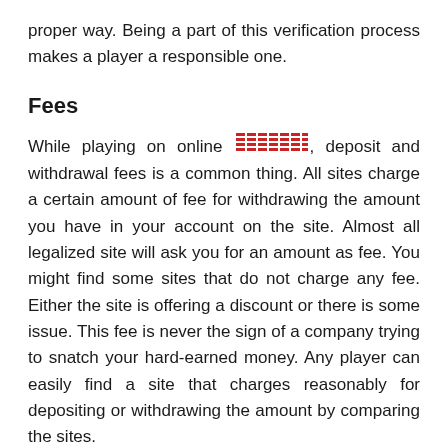proper way. Being a part of this verification process makes a player a responsible one.
Fees
While playing on online [icon], deposit and withdrawal fees is a common thing. All sites charge a certain amount of fee for withdrawing the amount you have in your account on the site. Almost all legalized site will ask you for an amount as fee. You might find some sites that do not charge any fee. Either the site is offering a discount or there is some issue. This fee is never the sign of a company trying to snatch your hard-earned money. Any player can easily find a site that charges reasonably for depositing or withdrawing the amount by comparing the sites.